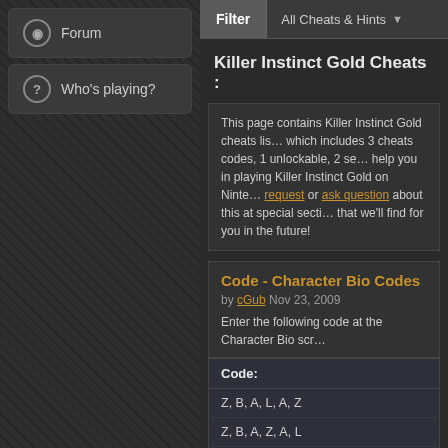Forum
Who's playing?
Filter   All Cheats & Hints
Killer Instinct Gold Cheats :
This page contains Killer Instinct Gold cheats list, which includes 3 cheats codes, 1 unlockable, 2 secrets... help you in playing Killer Instinct Gold on Nintendo... request or ask question about this at special section... that we'll find for you in the future!
Code - Character Bio Codes
by cGub Nov 23, 2009
Enter the following code at the Character Bio scr...
| Code: |
| --- |
| Z, B, A, L, A, Z |
| Z, B, A, Z, A, L |
| Z, A, R, Z, A, B |
| Z - L Button - A - Z - A - R Button |